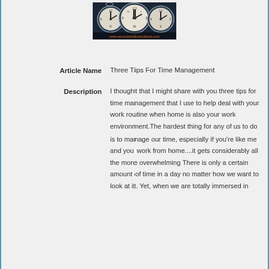[Figure (photo): Photo of multiple analog clocks with a website watermark at the bottom]
| Article Name | Three Tips For Time Management |
| Description | I thought that I might share with you three tips for time management that I use to help deal with your work routine when home is also your work environment.The hardest thing for any of us to do is to manage our time, especially if you're like me and you work from home....it gets considerably all the more overwhelming There is only a certain amount of time in a day no matter how we want to look at it. Yet, when we are totally immersed in |